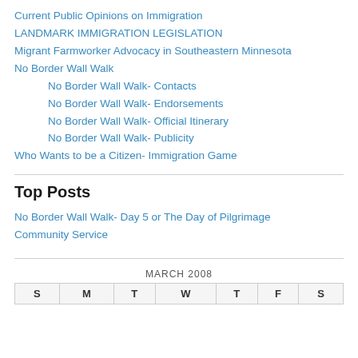Current Public Opinions on Immigration
LANDMARK IMMIGRATION LEGISLATION
Migrant Farmworker Advocacy in Southeastern Minnesota
No Border Wall Walk
No Border Wall Walk- Contacts
No Border Wall Walk- Endorsements
No Border Wall Walk- Official Itinerary
No Border Wall Walk- Publicity
Who Wants to be a Citizen- Immigration Game
Top Posts
No Border Wall Walk- Day 5 or The Day of Pilgrimage
Community Service
MARCH 2008
| S | M | T | W | T | F | S |
| --- | --- | --- | --- | --- | --- | --- |